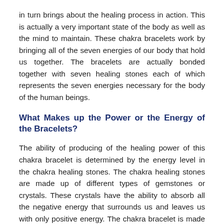in turn brings about the healing process in action. This is actually a very important state of the body as well as the mind to maintain. These chakra bracelets work by bringing all of the seven energies of our body that hold us together. The bracelets are actually bonded together with seven healing stones each of which represents the seven energies necessary for the body of the human beings.
What Makes up the Power or the Energy of the Bracelets?
The ability of producing of the healing power of this chakra bracelet is determined by the energy level in the chakra healing stones. The chakra healing stones are made up of different types of gemstones or crystals. These crystals have the ability to absorb all the negative energy that surrounds us and leaves us with only positive energy. The chakra bracelet is made up of varieties of gemstones and hence the